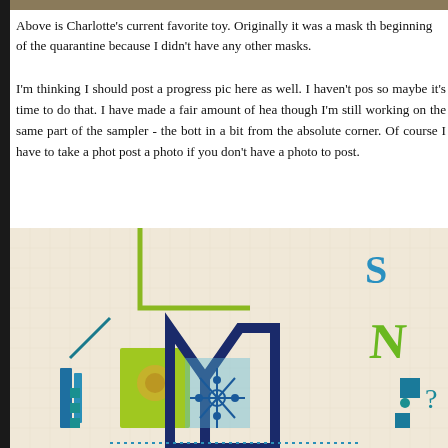[Figure (photo): Thin decorative strip at the top of the page, brownish/tan textured pattern]
Above is Charlotte's current favorite toy. Originally it was a mask th beginning of the quarantine because I didn't have any other masks.
I'm thinking I should post a progress pic here as well. I haven't pos so maybe it's time to do that. I have made a fair amount of hea though I'm still working on the same part of the sampler - the bott in a bit from the absolute corner. Of course I have to take a phot post a photo if you don't have a photo to post.
[Figure (photo): Close-up photograph of a needlepoint/cross-stitch sampler canvas showing colorful embroidered letters and patterns in blue, green, teal, and navy on a cream/white canvas mesh background]